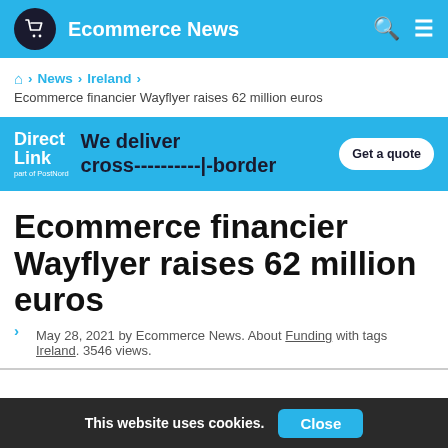Ecommerce News
🏠 > News > Ireland > Ecommerce financier Wayflyer raises 62 million euros
[Figure (infographic): Direct Link advertisement banner: 'We deliver cross----------|-border' with a 'Get a quote' button]
Ecommerce financier Wayflyer raises 62 million euros
May 28, 2021 by Ecommerce News. About Funding with tags Ireland. 3546 views.
This website uses cookies.